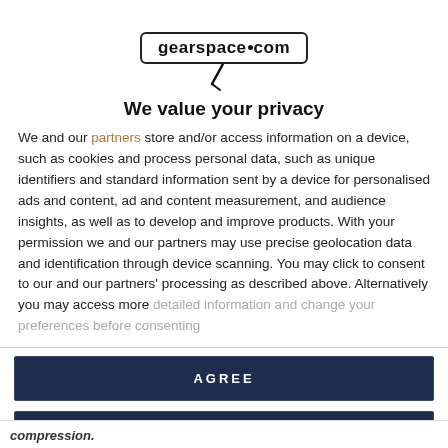[Figure (logo): gearspace.com logo in a rounded rectangle border with a cable/plug SVG icon below]
We value your privacy
We and our partners store and/or access information on a device, such as cookies and process personal data, such as unique identifiers and standard information sent by a device for personalised ads and content, ad and content measurement, and audience insights, as well as to develop and improve products. With your permission we and our partners may use precise geolocation data and identification through device scanning. You may click to consent to our and our partners' processing as described above. Alternatively you may access more detailed information and change your preferences before consenting
AGREE
MORE OPTIONS
compression.